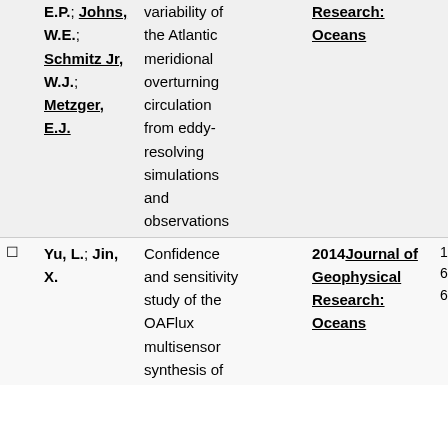|  | Authors | Title | Year / Journal | Pages |
| --- | --- | --- | --- | --- |
|  | E.P.; Johns, W.E.; Schmitz Jr, W.J.; Metzger, E.J. | variability of the Atlantic meridional overturning circulation from eddy-resolving simulations and observations | Journal of Geophysical Research: Oceans |  |
| ☐ | Yu, L.; Jin, X. | Confidence and sensitivity study of the OAFlux multisensor synthesis of | 2014 Journal of Geophysical Research: Oceans | 119 684–686 |